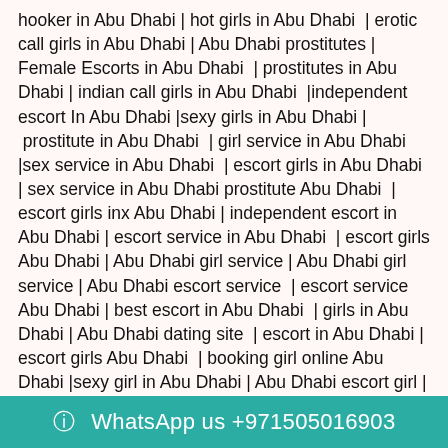hooker in Abu Dhabi | hot girls in Abu Dhabi | erotic call girls in Abu Dhabi | Abu Dhabi prostitutes | Female Escorts in Abu Dhabi | prostitutes in Abu Dhabi | indian call girls in Abu Dhabi |independent escort In Abu Dhabi |sexy girls in Abu Dhabi | prostitute in Abu Dhabi | girl service in Abu Dhabi |sex service in Abu Dhabi | escort girls in Abu Dhabi | sex service in Abu Dhabi prostitute Abu Dhabi | escort girls inx Abu Dhabi | independent escort in Abu Dhabi | escort service in Abu Dhabi | escort girls Abu Dhabi | Abu Dhabi girl service | Abu Dhabi girl service | Abu Dhabi escort service | escort service Abu Dhabi | best escort in Abu Dhabi | girls in Abu Dhabi | Abu Dhabi dating site | escort in Abu Dhabi | escort girls Abu Dhabi | booking girl online Abu Dhabi |sexy girl in Abu Dhabi | Abu Dhabi escort girl | escorts for hire Abu Dhabi | escort girl Abu Dhabi | Abu Dhabi escort agency | Abu Dhabi sexy girl | escorts escort agency in Abu Dhabi | female esco... | indian escort Abu Dhabi | Abu Dhabi girls | escort in
WhatsApp us +971505016903